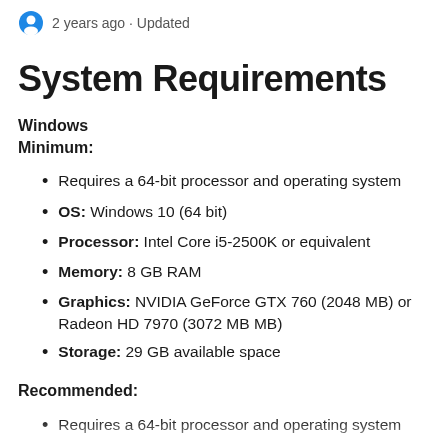2 years ago · Updated
System Requirements
Windows
Minimum:
Requires a 64-bit processor and operating system
OS: Windows 10 (64 bit)
Processor: Intel Core i5-2500K or equivalent
Memory: 8 GB RAM
Graphics: NVIDIA GeForce GTX 760 (2048 MB) or Radeon HD 7970 (3072 MB MB)
Storage: 29 GB available space
Recommended:
Requires a 64-bit processor and operating system